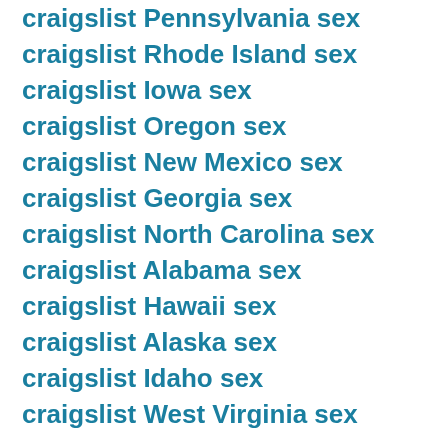craigslist Pennsylvania sex
craigslist Rhode Island sex
craigslist Iowa sex
craigslist Oregon sex
craigslist New Mexico sex
craigslist Georgia sex
craigslist North Carolina sex
craigslist Alabama sex
craigslist Hawaii sex
craigslist Alaska sex
craigslist Idaho sex
craigslist West Virginia sex